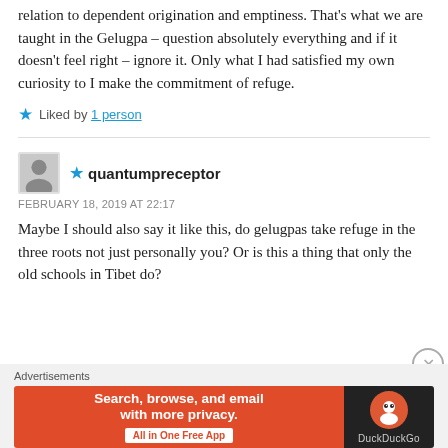relation to dependent origination and emptiness. That's what we are taught in the Gelugpa – question absolutely everything and if it doesn't feel right – ignore it. Only what I had satisfied my own curiosity to I make the commitment of refuge.
★ Liked by 1 person
★ quantumpreceptor
FEBRUARY 18, 2019 AT 22:17
Maybe I should also say it like this, do gelugpas take refuge in the three roots not just personally you? Or is this a thing that only the old schools in Tibet do?
Advertisements
Search, browse, and email with more privacy. All in One Free App  DuckDuckGo